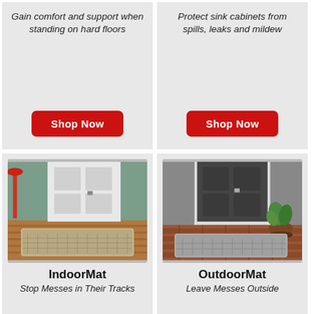Gain comfort and support when standing on hard floors
Shop Now
Protect sink cabinets from spills, leaks and mildew
Shop Now
[Figure (photo): Indoor mat in front of a white door on hardwood floor]
IndoorMat
Stop Messes in Their Tracks
[Figure (photo): Outdoor mat in front of a dark door on brick patio with a plant]
OutdoorMat
Leave Messes Outside